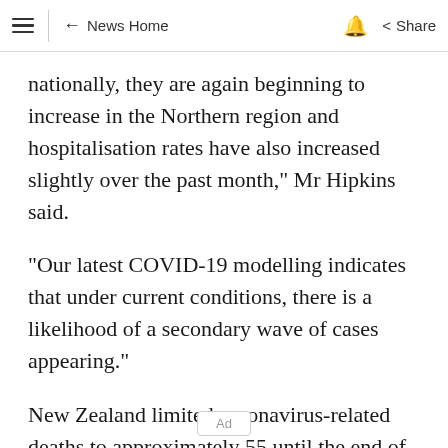≡  ← News Home  🔔  Share
nationally, they are again beginning to increase in the Northern region and hospitalisation rates have also increased slightly over the past month," Mr Hipkins said.
"Our latest COVID-19 modelling indicates that under current conditions, there is a likelihood of a secondary wave of cases appearing."
New Zealand limited coronavirus-related deaths to approximately 55 until the end of las ×
Ad